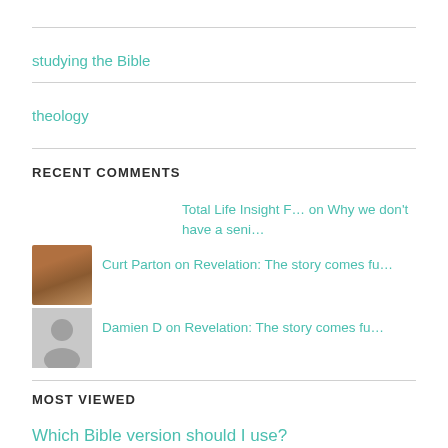studying the Bible
theology
RECENT COMMENTS
Total Life Insight F… on Why we don't have a seni…
Curt Parton on Revelation: The story comes fu…
Damien D on Revelation: The story comes fu…
MOST VIEWED
Which Bible version should I use?